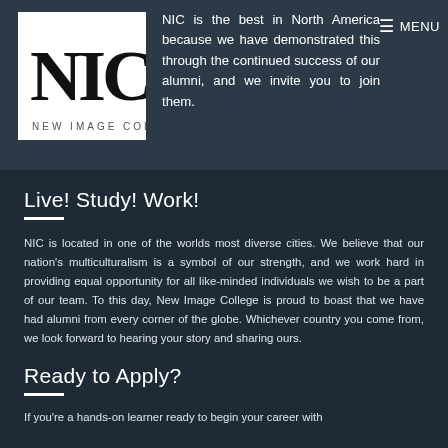NIC is the best in North America because we have demonstrated this through the continued success of our alumni, and we invite you to join them.
[Figure (logo): NIC logo — block letters N, I, C in black serif font on white square background]
Live! Study! Work!
NIC is located in one of the worlds most diverse cities. We believe that our nation's multiculturalism is a symbol of our strength, and we work hard in providing equal opportunity for all like-minded individuals we wish to be a part of our team. To this day, New Image College is proud to boast that we have had alumni from every corner of the globe. Whichever country you come from, we look forward to hearing your story and sharing ours.
Ready to Apply?
If you're a hands-on learner ready to begin your career with